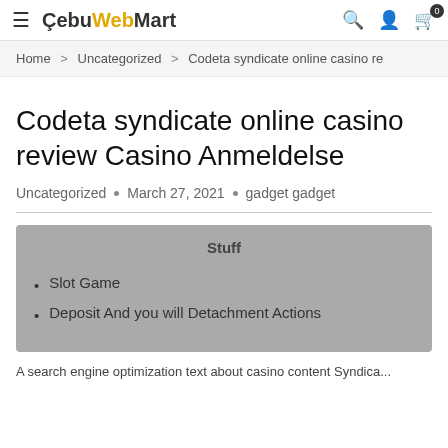≡  CebuWebMart  🔍  👤  🛒 0
Home > Uncategorized > Codeta syndicate online casino re
Codeta syndicate online casino review Casino Anmeldelse
Uncategorized • March 27, 2021 • gadget gadget
Stuff
Slot Game
Deposit And you will Detachment Actions
A search engine optimization text about casino content Syndica...